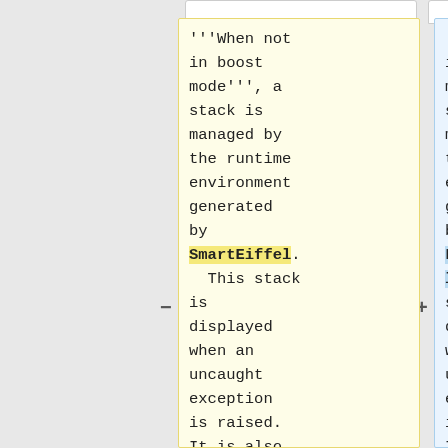'''When not in boost mode''', a stack is managed by the runtime environment generated by SmartEiffel. This stack is displayed when an uncaught exception is raised. It is also used by the debugger [[sedb]].
'''When not in boost mode''', a stack is managed by the runtime environment generated by LibertyEiffel. This stack is displayed when an uncaught exception is raised. It is also used by the debugger [[sedb]].